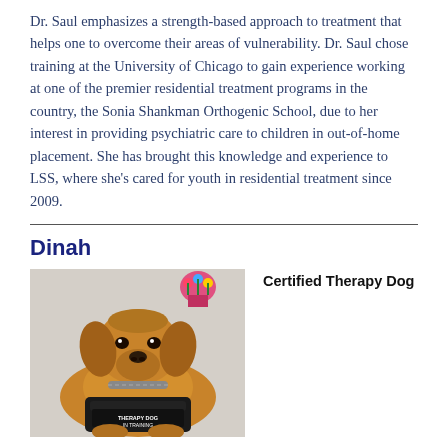Dr. Saul emphasizes a strength-based approach to treatment that helps one to overcome their areas of vulnerability. Dr. Saul chose training at the University of Chicago to gain experience working at one of the premier residential treatment programs in the country, the Sonia Shankman Orthogenic School, due to her interest in providing psychiatric care to children in out-of-home placement. She has brought this knowledge and experience to LSS, where she's cared for youth in residential treatment since 2009.
Dinah
[Figure (photo): Photo of a golden retriever therapy dog wearing a therapy dog vest, sitting and looking at the camera]
Certified Therapy Dog